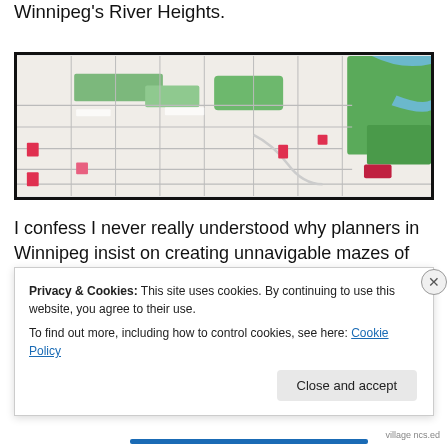Winnipeg's River Heights.
[Figure (map): A top-down street map of Winnipeg's River Heights neighbourhood, showing a grid of streets with green parks, curved roads, and various landmarks. The map has a black border and shows a mix of residential streets and parkland.]
I confess I never really understood why planners in Winnipeg insist on creating unnavigable mazes of curved streets, bays and cul-de-sacs. There is nothing wrong with a street that doesn't bend, and it sure helps a person find
Privacy & Cookies: This site uses cookies. By continuing to use this website, you agree to their use.
To find out more, including how to control cookies, see here: Cookie Policy
Close and accept